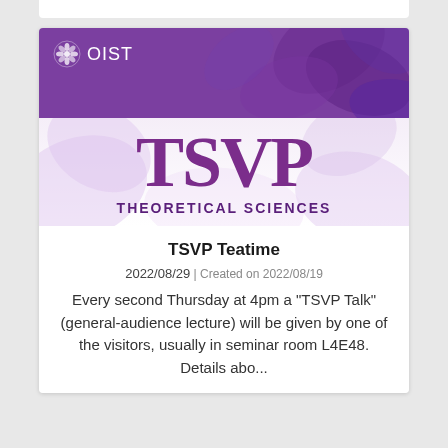[Figure (logo): OIST purple banner header with decorative leaf pattern and OIST logo text in white]
[Figure (logo): TSVP Theoretical Sciences large purple logo on light lavender background with decorative leaf watermarks]
TSVP Teatime
2022/08/29 | Created on 2022/08/19
Every second Thursday at 4pm a "TSVP Talk" (general-audience lecture) will be given by one of the visitors, usually in seminar room L4E48. Details abo...